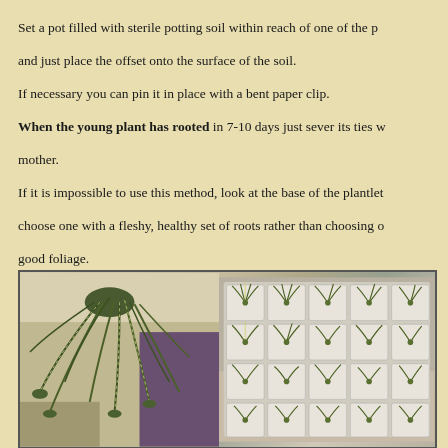Set a pot filled with sterile potting soil within reach of one of the p and just place the offset onto the surface of the soil. If necessary you can pin it in place with a bent paper clip. When the young plant has rooted in 7-10 days just sever its ties w mother. If it is impossible to use this method, look at the base of the plantlet choose one with a fleshy, healthy set of roots rather than choosing o good foliage. Sever it from the parent and follow the same procedure, pinning it t of soil. This method of rooting will take about a month.
[Figure (photo): Two photos side by side: left shows a spider plant hanging indoors with long trailing offshoots; right shows a grid tray with multiple small spider plant cuttings in individual white plastic cells.]